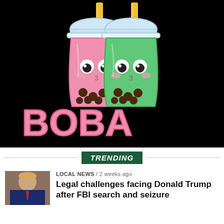[Figure (illustration): Cartoon illustration of two kawaii-style boba tea cups (one pink, one green) with yellow straws and brown tapioca pearls, with large pink 3D bubble letters spelling BOBA on a black background]
TRENDING
LOCAL NEWS / 2 weeks ago
[Figure (photo): Photo of Donald Trump]
Legal challenges facing Donald Trump after FBI search and seizure